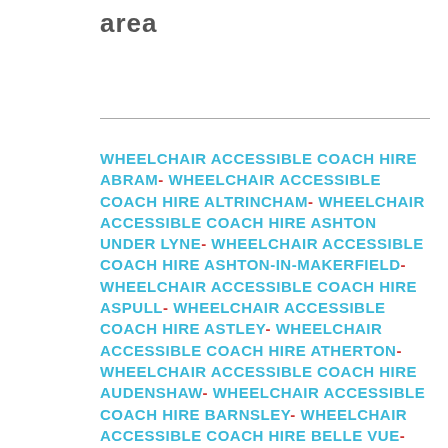area
WHEELCHAIR ACCESSIBLE COACH HIRE ABRAM- WHEELCHAIR ACCESSIBLE COACH HIRE ALTRINCHAM- WHEELCHAIR ACCESSIBLE COACH HIRE ASHTON UNDER LYNE- WHEELCHAIR ACCESSIBLE COACH HIRE ASHTON-IN-MAKERFIELD- WHEELCHAIR ACCESSIBLE COACH HIRE ASPULL- WHEELCHAIR ACCESSIBLE COACH HIRE ASTLEY- WHEELCHAIR ACCESSIBLE COACH HIRE ATHERTON- WHEELCHAIR ACCESSIBLE COACH HIRE AUDENSHAW- WHEELCHAIR ACCESSIBLE COACH HIRE BARNSLEY- WHEELCHAIR ACCESSIBLE COACH HIRE BELLE VUE- WHEELCHAIR ACCESSIBLE COACH HIRE BELLEVUE- WHEELCHAIR ACCESSIBLE COACH HIRE BLACKLEY- WHEELCHAIR ACCESSIBLE COACH HIRE BLACKROD- WHEELCHAIR CHAIR